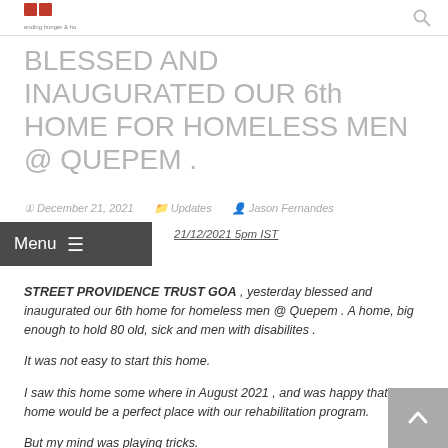ending hunger & homelessness (logo)
BLESSED AND INAUGURATED OUR 6th HOME FOR HOMELESS MEN @ QUEPEM .
December 21, 2021   Updates   Jason Fernandes
21/12/2021  5pm IST
STREET PROVIDENCE TRUST GOA , yesterday  blessed and inaugurated our 6th home for homeless men @ Quepem . A home, big enough to hold 80 old, sick and men with disabilites . It was not easy to start this home. I saw this home some where in August 2021 , and was happy that this home would be a perfect place with our rehabilitation program. But my mind was playing tricks. Quepem is really far away from Sangolda . Besides the cost of upgrading it is about Rs.15 l...